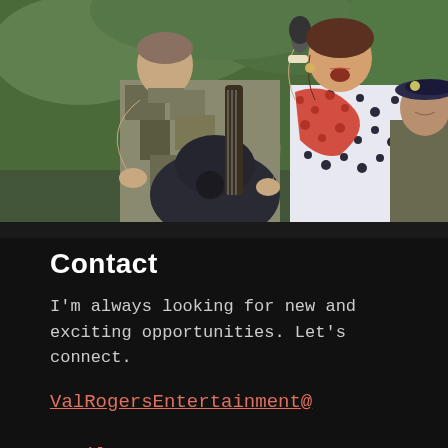[Figure (photo): Outdoor performance photo: a man in military camouflage uniform playing an acoustic guitar on the left, a woman in a black and white patterned dress with a red scarf singing into a microphone in the center, and another person wearing a military beret visible on the right. Green trees in the background.]
Contact
I'm always looking for new and exciting opportunities. Let's connect.
ValRogersEntertainment@gmail.com